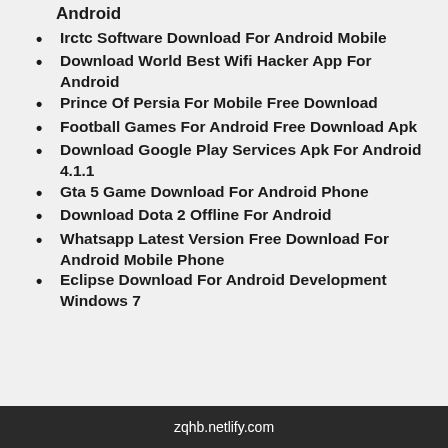Android
Irctc Software Download For Android Mobile
Download World Best Wifi Hacker App For Android
Prince Of Persia For Mobile Free Download
Football Games For Android Free Download Apk
Download Google Play Services Apk For Android 4.1.1
Gta 5 Game Download For Android Phone
Download Dota 2 Offline For Android
Whatsapp Latest Version Free Download For Android Mobile Phone
Eclipse Download For Android Development Windows 7
zqhb.netlify.com